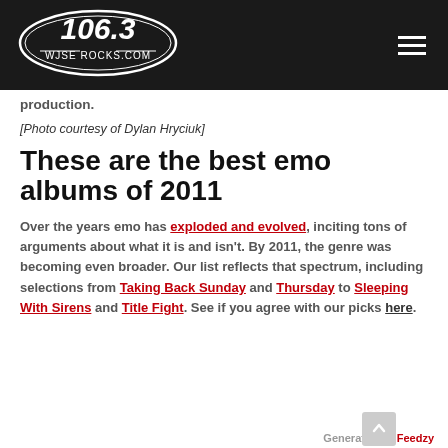106.3 WJSE ROCKS.COM
production.
[Photo courtesy of Dylan Hryciuk]
These are the best emo albums of 2011
Over the years emo has exploded and evolved, inciting tons of arguments about what it is and isn't. By 2011, the genre was becoming even broader. Our list reflects that spectrum, including selections from Taking Back Sunday and Thursday to Sleeping With Sirens and Title Fight. See if you agree with our picks here.
Generated by Feedzy